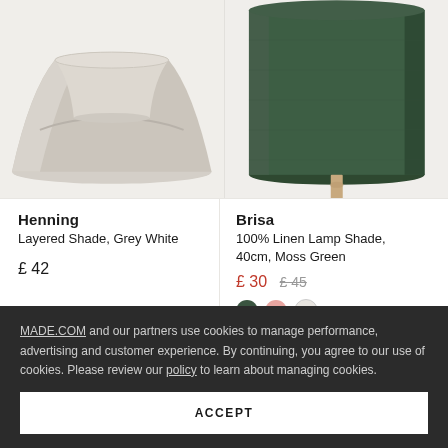[Figure (photo): Close-up of a grey-white layered fabric lamp shade against a light beige background]
[Figure (photo): Close-up of a moss green 100% linen cylindrical lamp shade on a wooden stand against a light background]
Henning
Layered Shade, Grey White
£ 42
Brisa
100% Linen Lamp Shade, 40cm, Moss Green
£ 30  £ 45
MADE.COM and our partners use cookies to manage performance, advertising and customer experience. By continuing, you agree to our use of cookies. Please review our policy to learn about managing cookies.
ACCEPT